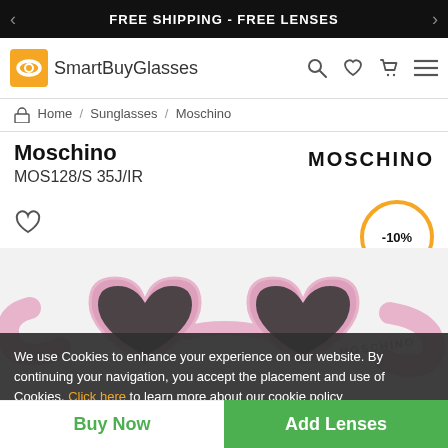FREE SHIPPING - FREE LENSES
[Figure (logo): SmartBuyGlasses logo with orange icon]
Home / Sunglasses / Moschino
Moschino
MOS128/S 35J/IR
[Figure (logo): MOSCHINO brand name in bold black text]
[Figure (photo): Pink heart-shaped Moschino sunglasses with dark lenses, product photograph]
We use Cookies to enhance your experience on our website. By continuing your navigation, you accept the placement and use of Cookies. Click here to learn more about our cookie policy
Available Colors